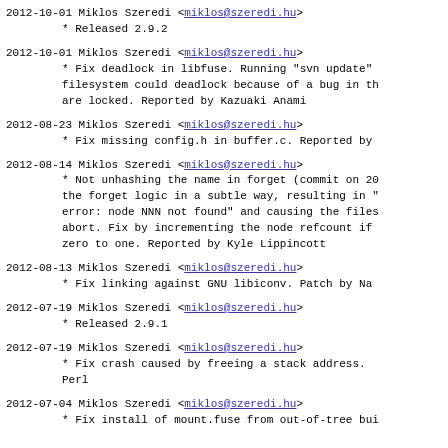2012-10-01  Miklos Szeredi <miklos@szeredi.hu>
	* Released 2.9.2
2012-10-01  Miklos Szeredi <miklos@szeredi.hu>
	* Fix deadlock in libfuse.  Running "svn update" on a fuse filesystem could deadlock because of a bug in the way mutexes are locked.  Reported by Kazuaki Anami
2012-08-23  Miklos Szeredi <miklos@szeredi.hu>
	* Fix missing config.h in buffer.c.  Reported by
2012-08-14  Miklos Szeredi <miklos@szeredi.hu>
	* Not unhashing the name in forget (commit on 20...) broke the forget logic in a subtle way, resulting in "fuse: internal error: node NNN not found" and causing the filesystem to abort.  Fix by incrementing the node refcount if it drops from zero to one.  Reported by Kyle Lippincott
2012-08-13  Miklos Szeredi <miklos@szeredi.hu>
	* Fix linking against GNU libiconv.  Patch by Na
2012-07-19  Miklos Szeredi <miklos@szeredi.hu>
	* Released 2.9.1
2012-07-19  Miklos Szeredi <miklos@szeredi.hu>
	* Fix crash caused by freeing a stack address.  Perl
2012-07-04  Miklos Szeredi <miklos@szeredi.hu>
	* Fix install of mount.fuse from out-of-tree bui